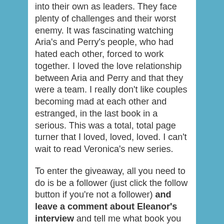into their own as leaders. They face plenty of challenges and their worst enemy. It was fascinating watching Aria's and Perry's people, who had hated each other, forced to work together. I loved the love relationship between Aria and Perry and that they were a team. I really don't like couples becoming mad at each other and estranged, in the last book in a serious. This was a total, total page turner that I loved, loved, loved. I can't wait to read Veronica's new series.
To enter the giveaway, all you need to do is be a follower (just click the follow button if you're not a follower) and leave a comment about Eleanor's interview and tell me what book you want through January 25th. If you're from outside the US/Canada, please let me know this too. I'll announce the winner on January 27th. If your e-mail is not on your Google Profile, please leave it in the comments.
If you mention this contest on Twitter, Facebook,